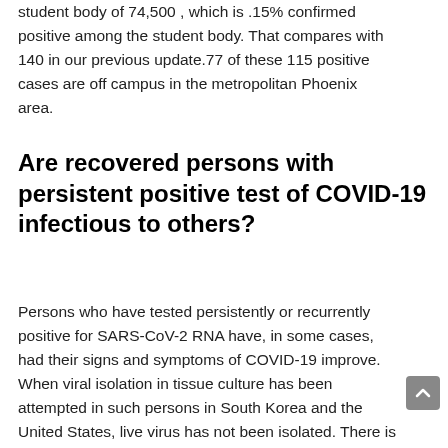student body of 74,500 , which is .15% confirmed positive among the student body. That compares with 140 in our previous update.77 of these 115 positive cases are off campus in the metropolitan Phoenix area.
Are recovered persons with persistent positive test of COVID-19 infectious to others?
Persons who have tested persistently or recurrently positive for SARS-CoV-2 RNA have, in some cases, had their signs and symptoms of COVID-19 improve. When viral isolation in tissue culture has been attempted in such persons in South Korea and the United States, live virus has not been isolated. There is no evidence to date that clinically recovered persons with persistent or recurrent detection of viral RNA have transmitted